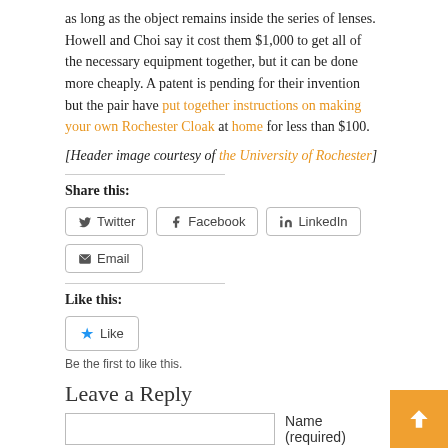as long as the object remains inside the series of lenses. Howell and Choi say it cost them $1,000 to get all of the necessary equipment together, but it can be done more cheaply. A patent is pending for their invention but the pair have put together instructions on making your own Rochester Cloak at home for less than $100.
[Header image courtesy of the University of Rochester]
Share this:
Twitter Facebook LinkedIn Email
Like this:
Like
Be the first to like this.
Leave a Reply
Name (required)